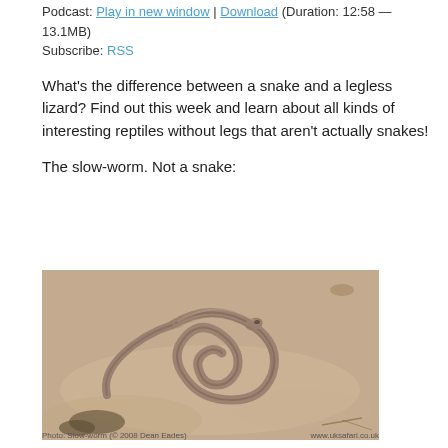Podcast: Play in new window | Download (Duration: 12:58 — 13.1MB)
Subscribe: RSS
What's the difference between a snake and a legless lizard? Find out this week and learn about all kinds of interesting reptiles without legs that aren't actually snakes!
The slow-worm. Not a snake:
[Figure (photo): Photograph of a slow-worm coiled on sandy ground with leaf debris. Photo credit: Slow-worm (© 2008 Dean Eades), www.uksafari.co.uk]